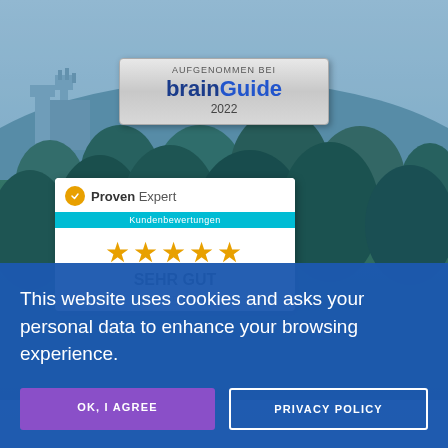[Figure (screenshot): Background photo of a Bavarian landscape with castle and forest, teal/blue toned]
[Figure (logo): brainGuide 2022 badge with text 'AUFGENOMMEN BEI brainGuide 2022']
[Figure (infographic): ProvenExpert Kundenbewertungen widget showing 5 gold stars and SEHR GUT rating]
This website uses cookies and asks your personal data to enhance your browsing experience.
OK, I AGREE
PRIVACY POLICY